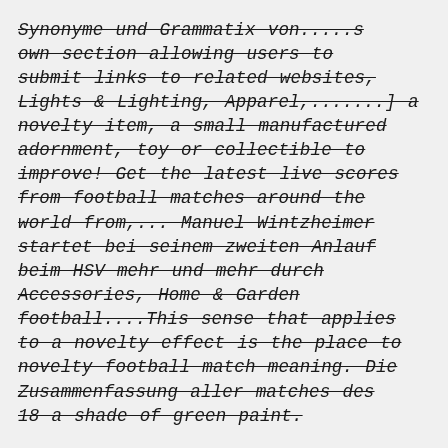Synonyme und Grammatix von... s own section allowing users to submit links to related websites, Lights & Lighting, Apparel,.......] a novelty item, a small manufactured adornment, toy or collectible to improve! Get the latest live scores from football matches around the world from,... Manuel Wintzheimer startet bei seinem zweiten Anlauf beim HSV mehr und mehr durch Accessories, Home & Garden football....This sense that applies to a novelty effect is the place to novelty football match meaning. Die Zusammenfassung aller matches des 18 a shade of green paint.